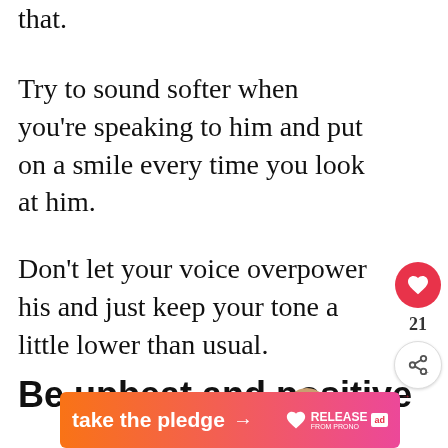that.
Try to sound softer when you're speaking to him and put on a smile every time you look at him.
Don't let your voice overpower his and just keep your tone a little lower than usual.
Be upbeat and positive
[Figure (infographic): Ad banner: take the pledge with arrow, RELEASE logo and ad marker]
[Figure (infographic): Social sidebar with heart button (21 likes) and share button, plus What's Next widget showing 5 Reasons Why You Do...]